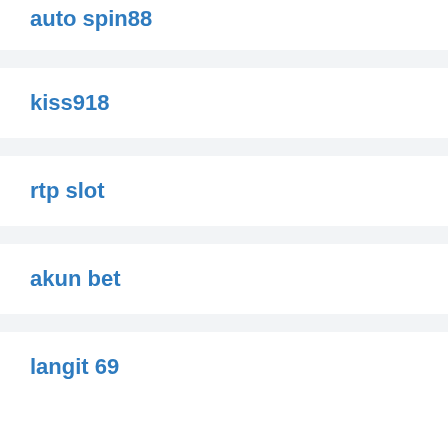auto spin88
kiss918
rtp slot
akun bet
langit 69